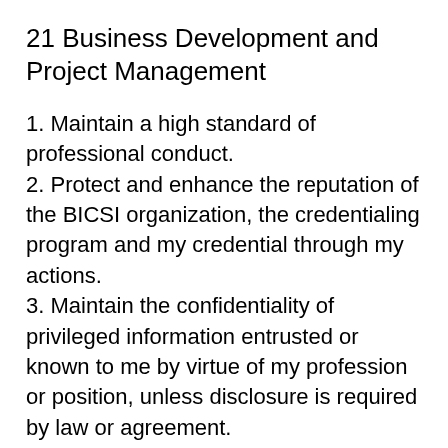21 Business Development and Project Management
1. Maintain a high standard of professional conduct.
2. Protect and enhance the reputation of the BICSI organization, the credentialing program and my credential through my actions.
3. Maintain the confidentiality of privileged information entrusted or known to me by virtue of my profession or position, unless disclosure is required by law or agreement.
4. Be accurate and truthful in my dealings with clients and be careful not to